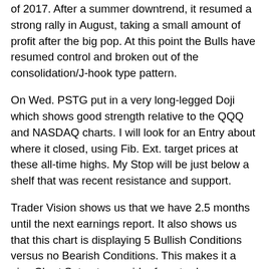of 2017. After a summer downtrend, it resumed a strong rally in August, taking a small amount of profit after the big pop. At this point the Bulls have resumed control and broken out of the consolidation/J-hook type pattern.
On Wed. PSTG put in a very long-legged Doji which shows good strength relative to the QQQ and NASDAQ charts. I will look for an Entry about where it closed, using Fib. Ext. target prices at these all-time highs. My Stop will be just below a shelf that was recent resistance and support.
Trader Vision shows us that we have 2.5 months until the next earnings report. It also shows us that this chart is displaying 5 Bullish Conditions versus no Bearish Conditions. This makes it a nice Chart Setup to consider for a trade.
TV20/20 also tells us this plan gives us only $127.50 in “Risk to Stop Out” while also having the potential for $307.50 in profit at the 1st Target price. This is a respectable 2.41:1 Reward/Risk ratio.
However, if sell half at that target, move up our